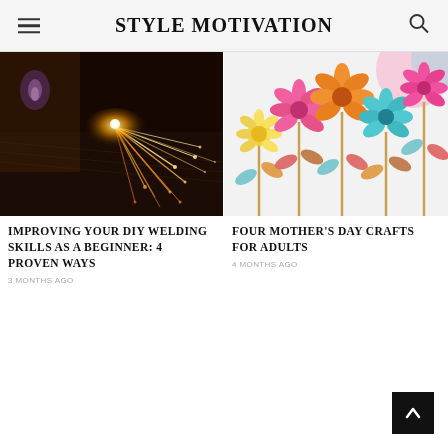STYLE MOTIVATION
[Figure (photo): Close-up of welding sparks flying from metal cutting, dark background with orange and golden sparks]
IMPROVING YOUR DIY WELDING SKILLS AS A BEGINNER: 4 PROVEN WAYS
3 MONTHS AGO
[Figure (photo): Colorful paper flower decorations on white background, featuring pink, yellow, orange, and teal flowers on stems with leaves]
FOUR MOTHER'S DAY CRAFTS FOR ADULTS
4 MONTHS AGO